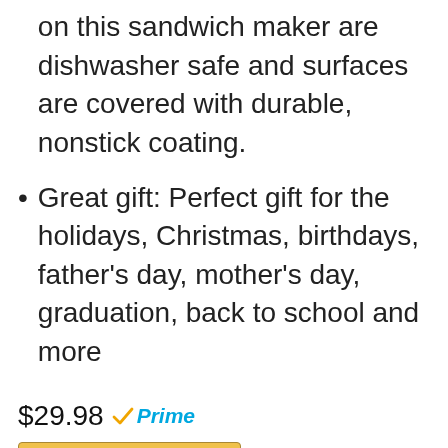on this sandwich maker are dishwasher safe and surfaces are covered with durable, nonstick coating.
Great gift: Perfect gift for the holidays, Christmas, birthdays, father's day, mother's day, graduation, back to school and more
$29.98 Prime
[Figure (other): Buy on Amazon button with Amazon logo]
[Figure (photo): Bottom portion of a sandwich maker product image]